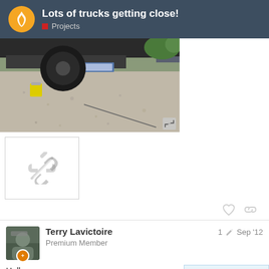Lots of trucks getting close! — Projects
[Figure (photo): Photo of the rear of a truck on a gravel surface, showing a wheel, trailer hitch, and license plate area with a yellow object nearby and a metal rod on the ground.]
[Figure (other): Broken/unloaded image placeholder showing a broken link icon.]
Terry Lavictoire
Premium Member
1 [edit] Sep '12
Hello,
I first saw Woodgas in an early 80' edition
3 / 22